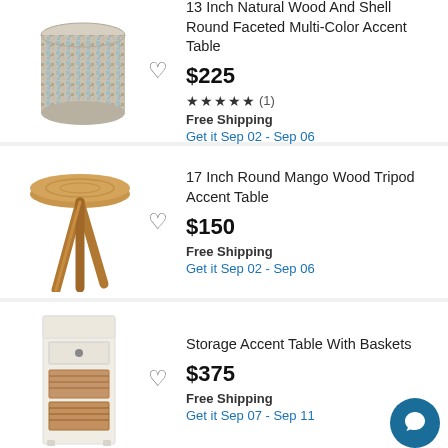[Figure (photo): 13 inch natural wood and shell round faceted multi-color accent table product photo]
13 Inch Natural Wood And Shell Round Faceted Multi-Color Accent Table
$225
★★★★★ (1)
Free Shipping
Get it Sep 02 - Sep 06
[Figure (photo): 17 inch round mango wood tripod accent table product photo]
17 Inch Round Mango Wood Tripod Accent Table
$150
Free Shipping
Get it Sep 02 - Sep 06
[Figure (photo): Storage accent table with baskets product photo]
Storage Accent Table With Baskets
$375
Free Shipping
Get it Sep 07 - Sep 11